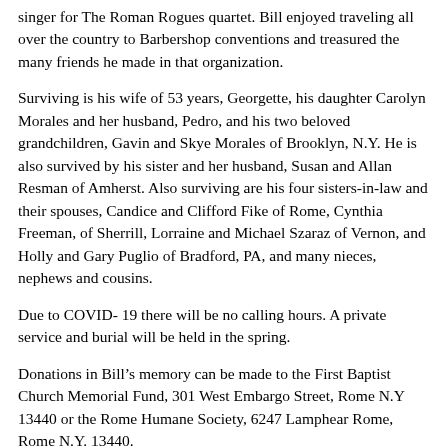singer for The Roman Rogues quartet. Bill enjoyed traveling all over the country to Barbershop conventions and treasured the many friends he made in that organization.
Surviving is his wife of 53 years, Georgette, his daughter Carolyn Morales and her husband, Pedro, and his two beloved grandchildren, Gavin and Skye Morales of Brooklyn, N.Y. He is also survived by his sister and her husband, Susan and Allan Resman of Amherst. Also surviving are his four sisters-in-law and their spouses, Candice and Clifford Fike of Rome, Cynthia Freeman, of Sherrill, Lorraine and Michael Szaraz of Vernon, and Holly and Gary Puglio of Bradford, PA, and many nieces, nephews and cousins.
Due to COVID- 19 there will be no calling hours. A private service and burial will be held in the spring.
Donations in Bill’s memory can be made to the First Baptist Church Memorial Fund, 301 West Embargo Street, Rome N.Y 13440 or the Rome Humane Society, 6247 Lamphear Rome, Rome N.Y. 13440.
Arrangements by Strong-Burns & Sprock Funeral Home7751 Merrick Road, Rome